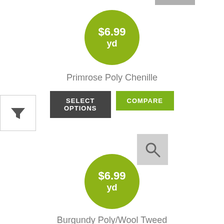[Figure (other): Price badge circle showing $6.99/yd in green for Primrose Poly Chenille]
Primrose Poly Chenille
SELECT OPTIONS
COMPARE
[Figure (other): Filter funnel icon in a white bordered box]
[Figure (other): Search magnifying glass icon in a grey box]
[Figure (other): Price badge circle showing $6.99/yd in green for Burgundy Poly/Wool Tweed]
Burgundy Poly/Wool Tweed
SELECT OPTIONS
COMPARE